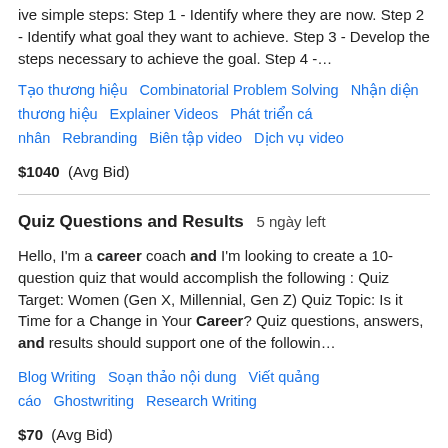ive simple steps: Step 1 - Identify where they are now. Step 2 - Identify what goal they want to achieve. Step 3 - Develop the steps necessary to achieve the goal. Step 4 -…
Tạo thương hiệu   Combinatorial Problem Solving   Nhận diện thương hiệu   Explainer Videos   Phát triển cá nhân   Rebranding   Biên tập video   Dịch vụ video
$1040  (Avg Bid)
Quiz Questions and Results  5 ngày left
Hello, I'm a career coach and I'm looking to create a 10-question quiz that would accomplish the following : Quiz Target: Women (Gen X, Millennial, Gen Z) Quiz Topic: Is it Time for a Change in Your Career? Quiz questions, answers, and results should support one of the followin…
Blog Writing   Soạn thảo nội dung   Viết quảng cáo   Ghostwriting   Research Writing
$70  (Avg Bid)